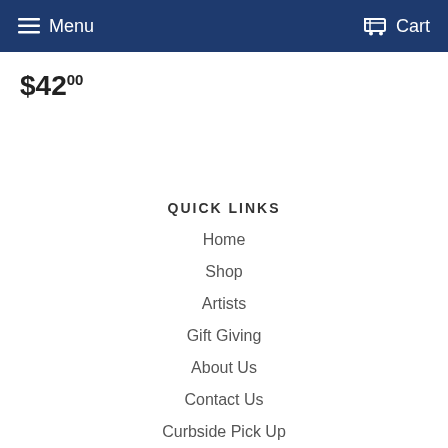Menu   Cart
$42.00
QUICK LINKS
Home
Shop
Artists
Gift Giving
About Us
Contact Us
Curbside Pick Up